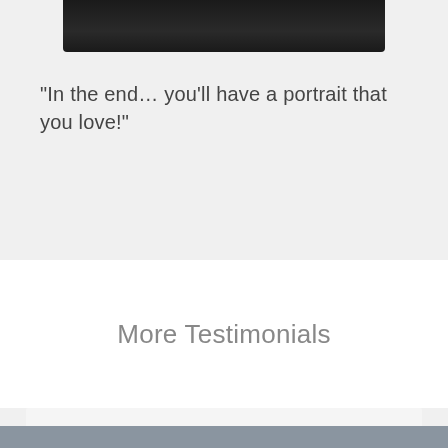[Figure (photo): Bottom portion of a dark portrait/video thumbnail image with gradient black background]
“In the end… you’ll have a portrait that you love!”
More Testimonials
[Figure (other): Light grey box at bottom of white section, partial testimonial card]